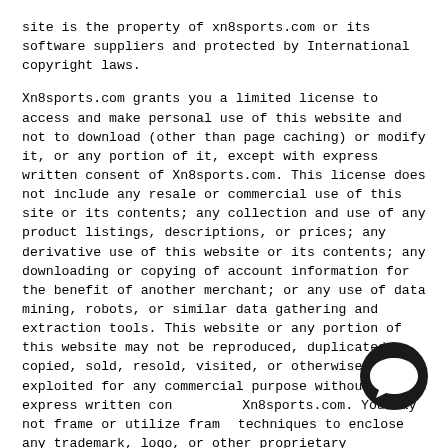site is the property of xn8sports.com or its software suppliers and protected by International copyright laws.

Xn8sports.com grants you a limited license to access and make personal use of this website and not to download (other than page caching) or modify it, or any portion of it, except with express written consent of Xn8sports.com. This license does not include any resale or commercial use of this site or its contents; any collection and use of any product listings, descriptions, or prices; any derivative use of this website or its contents; any downloading or copying of account information for the benefit of another merchant; or any use of data mining, robots, or similar data gathering and extraction tools. This website or any portion of this website may not be reproduced, duplicated, copied, sold, resold, visited, or otherwise exploited for any commercial purpose without express written consent of Xn8sports.com. You may not frame or utilize framing techniques to enclose any trademark, logo, or other proprietary information (including images, text, page